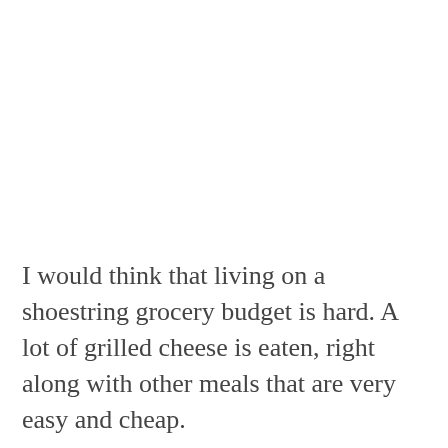I would think that living on a shoestring grocery budget is hard. A lot of grilled cheese is eaten, right along with other meals that are very easy and cheap.
It can be hard to buy fruits and veggies on a shoestring budget. However, there are ways to get it done. Just like buying meat can be